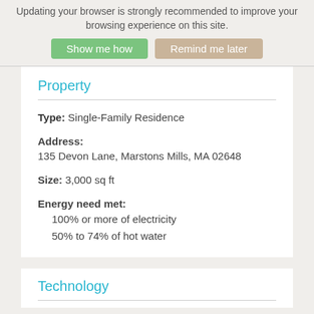Updating your browser is strongly recommended to improve your browsing experience on this site.
Show me how | Remind me later
Property
Type: Single-Family Residence
Address:
135 Devon Lane, Marstons Mills, MA 02648
Size: 3,000 sq ft
Energy need met:
100% or more of electricity
50% to 74% of hot water
Technology